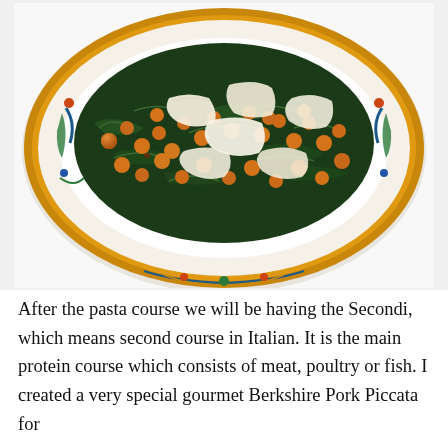[Figure (photo): A decorative Italian ceramic plate with a gold and colorful border featuring a dish of gnocchi or pasta with sautéed kale/greens, chickpeas or small round vegetables, and large shavings of Parmesan cheese on top, photographed from above.]
After the pasta course we will be having the Secondi, which means second course in Italian. It is the main protein course which consists of meat, poultry or fish. I created a very special gourmet Berkshire Pork Piccata for